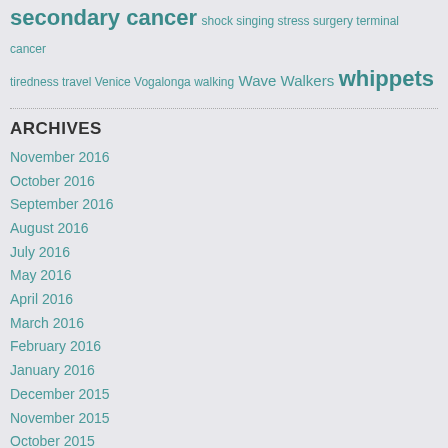secondary cancer shock singing stress surgery terminal cancer tiredness travel Venice Vogalonga walking Wave Walkers whippets
ARCHIVES
November 2016
October 2016
September 2016
August 2016
July 2016
May 2016
April 2016
March 2016
February 2016
January 2016
December 2015
November 2015
October 2015
September 2015
August 2015
July 2015
June 2015